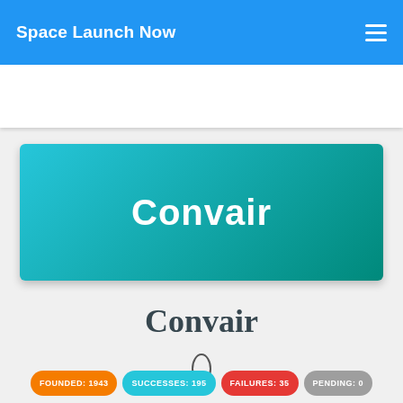Space Launch Now
[Figure (illustration): Convair banner card with teal gradient background and white bold text reading Convair]
Convair
()
FOUNDED: 1943  SUCCESSES: 195  FAILURES: 35  PENDING: 0